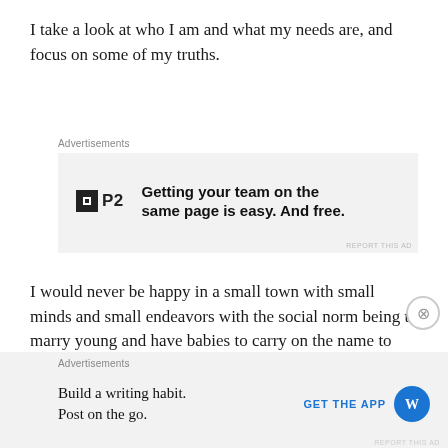I take a look at who I am and what my needs are, and focus on some of my truths.
[Figure (other): Advertisement banner for P2 with logo and text: Getting your team on the same page is easy. And free.]
I would never be happy in a small town with small minds and small endeavors with the social norm being to marry young and have babies to carry on the name to raise up to be football jocks and record breaking stars. I would never be happy to work for someone day in and day out with little growth, no new knowledge, no experience that leaves me feeling fulfilled and enlightened. I would never be
[Figure (other): Advertisement banner for WordPress app with text: Build a writing habit. Post on the go. GET THE APP with WordPress logo.]